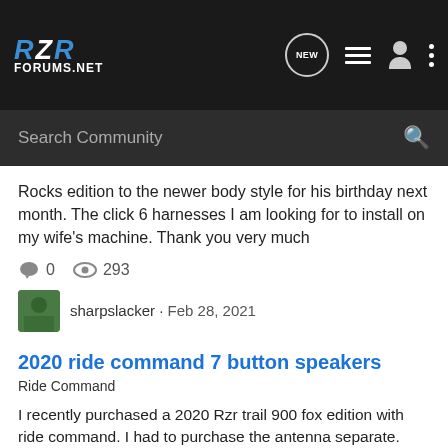RZR FORUMS.NET
Rocks edition to the newer body style for his birthday next month. The click 6 harnesses I am looking for to install on my wife's machine. Thank you very much
0  293
sharpslacker · Feb 28, 2021
click 6   fascia   looking to buy   ride command   rzr 1000 xp
2020 ride command 7 button speakers
Ride Command
I recently purchased a 2020 Rzr trail 900 fox edition with ride command. I had to purchase the antenna separate. Now I'm try to get some speakers. I've been reading about the 3amp outs ( I have them but nothing is labeled). I guess my